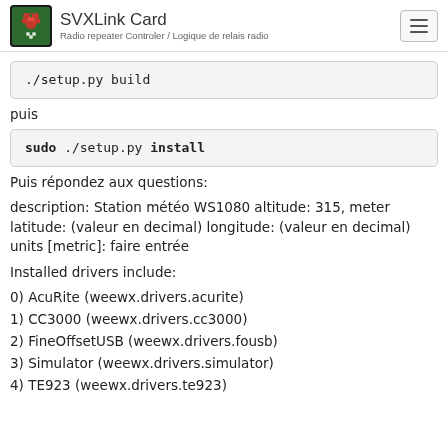SVXLink Card — Radio repeater Controler / Logique de relais radio
puis
Puis répondez aux questions:
description: Station météo WS1080 altitude: 315, meter latitude: (valeur en decimal) longitude: (valeur en decimal) units [metric]: faire entrée
Installed drivers include:
0) AcuRite (weewx.drivers.acurite)
1) CC3000 (weewx.drivers.cc3000)
2) FineOffsetUSB (weewx.drivers.fousb)
3) Simulator (weewx.drivers.simulator)
4) TE923 (weewx.drivers.te923)